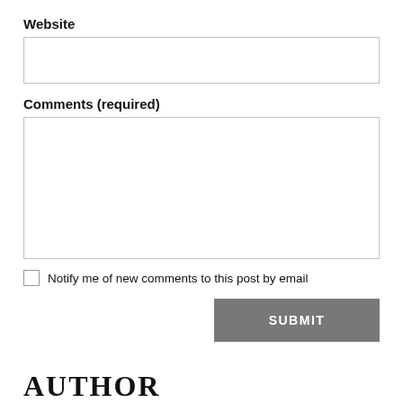Website
Comments (required)
Notify me of new comments to this post by email
SUBMIT
AUTHOR